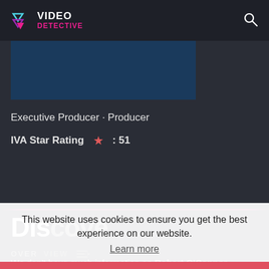[Figure (screenshot): Video Detective website header with logo (triangle/play icon with VIDEO DETECTIVE text) and search icon on dark background]
[Figure (photo): Dark blue rectangular image placeholder]
Executive Producer · Producer
IVA Star Rating ★ : 51
Discover
OVERVIEW
This website uses cookies to ensure you get the best experience on our website. Learn more
Got it!
We don't have much information on Robert O'Connor